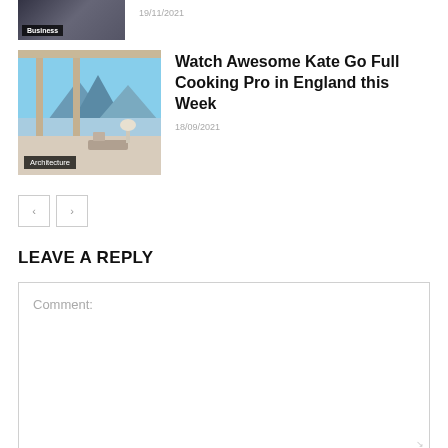[Figure (photo): Business article thumbnail with dark suited figure, Business category label]
19/11/2021
[Figure (photo): Architecture article thumbnail showing modern interior with lake and mountain view, Architecture category label]
Watch Awesome Kate Go Full Cooking Pro in England this Week
18/09/2021
LEAVE A REPLY
Comment: